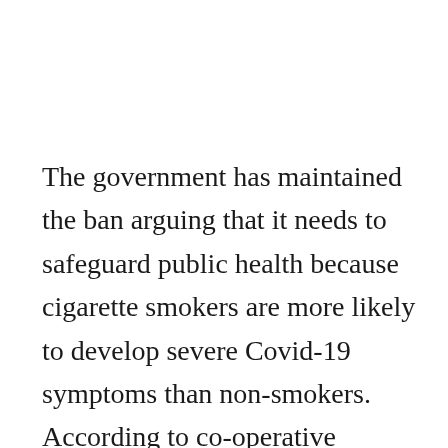The government has maintained the ban arguing that it needs to safeguard public health because cigarette smokers are more likely to develop severe Covid-19 symptoms than non-smokers.  According to co-operative governance & traditional affairs minister Nkosazana Dlamini-Zuma, the ban would mean that a “sizeable number of South